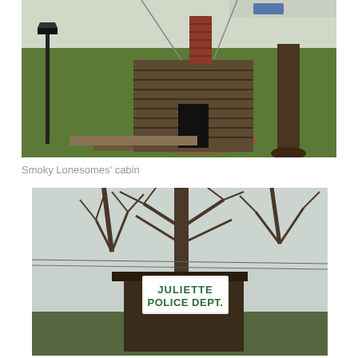[Figure (photo): An old weathered log cabin with a brick chimney, situated on a green lawn with a large tree trunk visible to the right and a lamp post to the left. A car and road are visible in the background.]
Smoky Lonesomes' cabin
[Figure (photo): A small rustic wooden structure with a sign reading 'JULIETTE POLICE DEPT.' in green letters on a white background, surrounded by bare-branched trees against a cloudy sky.]